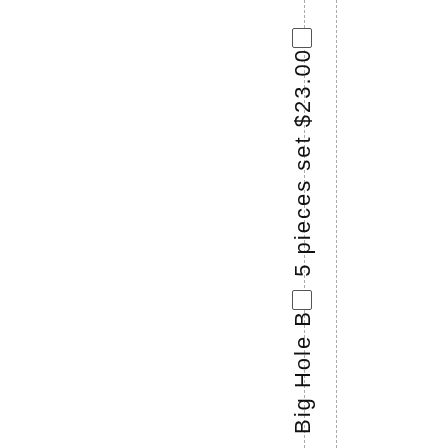5 pieces set $23.00
Big Hole B